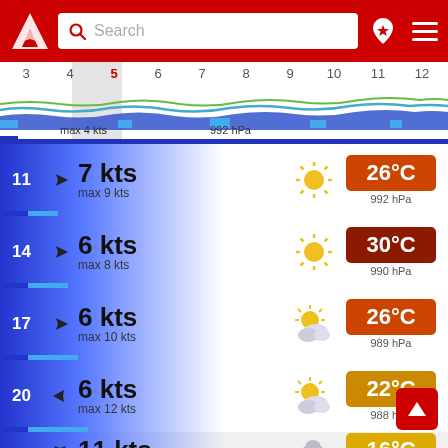[Figure (screenshot): App header with red background, white logo (triangle with arrow), search bar, location pin icon and hamburger menu]
[Figure (line-chart): Timeline strip showing hours 3-12 with wave chart showing wind/wave data, max 4 kts and 992 hPa]
11  7 kts  max 9 kts  26°C  992 hPa
14  6 kts  max 8 kts  30°C  990 hPa
17  6 kts  max 10 kts  26°C  989 hPa
20  6 kts  max 12 kts  22°C  988 hPa
23  11 kts  16°C